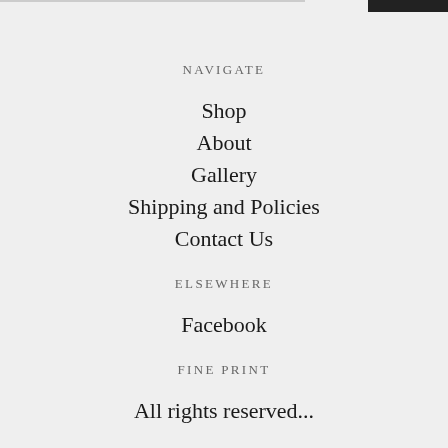NAVIGATE
Shop
About
Gallery
Shipping and Policies
Contact Us
ELSEWHERE
Facebook
FINE PRINT
All rights reserved...